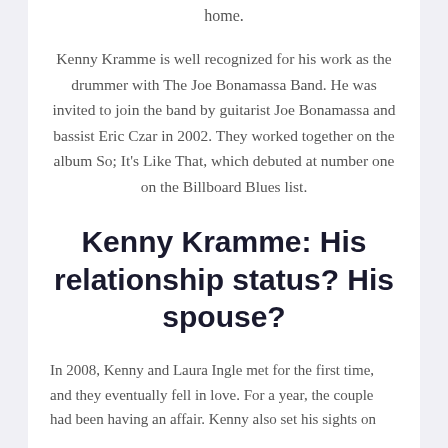home.
Kenny Kramme is well recognized for his work as the drummer with The Joe Bonamassa Band. He was invited to join the band by guitarist Joe Bonamassa and bassist Eric Czar in 2002. They worked together on the album So; It's Like That, which debuted at number one on the Billboard Blues list.
Kenny Kramme: His relationship status? His spouse?
In 2008, Kenny and Laura Ingle met for the first time, and they eventually fell in love. For a year, the couple had been having an affair. Kenny also set his sights on